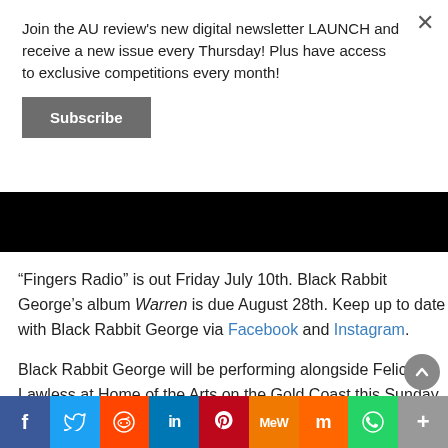Join the AU review's new digital newsletter LAUNCH and receive a new issue every Thursday! Plus have access to exclusive competitions every month!
Subscribe
[Figure (other): Black rectangle image placeholder/banner]
“Fingers Radio” is out Friday July 10th. Black Rabbit George’s album Warren is due August 28th. Keep up to date with Black Rabbit George via Facebook and Instagram.
Black Rabbit George will be performing alongside Felicity Lawless at Home of the Arts on the Gold Coast this Sunday. For more information head HERE. Tickets are also available for the Album Launch show at Mo’s Desert Clubhouse on
[Figure (other): Social media sharing bar with icons: Facebook, Twitter, Reddit, LinkedIn, Pinterest, MeWe, Mix, WhatsApp, More]